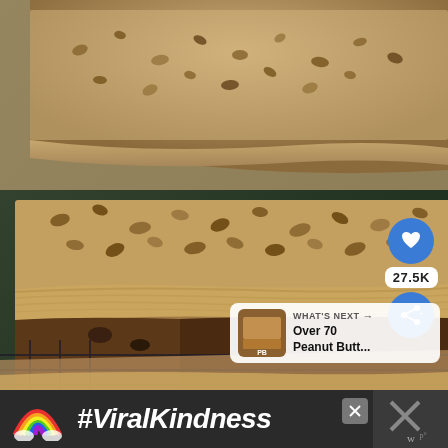[Figure (photo): Close-up photo of sliced banana bread loaves with peanut butter frosting/glaze and chopped walnut topping, stacked on a wire cooling rack]
[Figure (screenshot): UI overlay: heart/like button (blue circle with heart icon), share count badge showing 27.5K, share button (blue circle with share icon), and a 'WHAT'S NEXT' card showing thumbnail image and text 'Over 70 Peanut Butt...']
[Figure (screenshot): Advertisement banner at bottom: dark background with colorful rainbow illustration on left, bold italic white text '#ViralKindness', close X button, and website logo/icon on right]